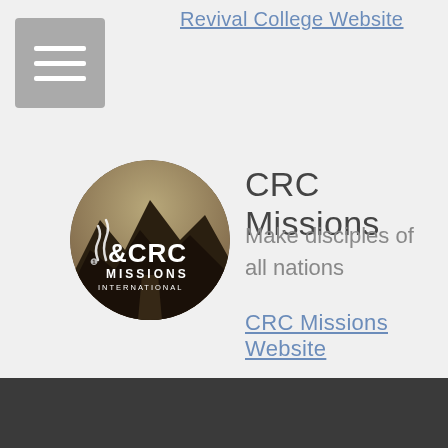Revival College Website
[Figure (logo): CRC Missions International circular logo with mountain landscape background and white text/logo]
CRC Missions
Make disciples of all nations
CRC Missions Website